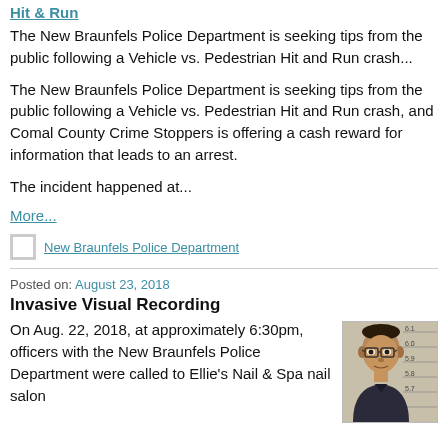Hit & Run
The New Braunfels Police Department is seeking tips from the public following a Vehicle vs. Pedestrian Hit and Run crash...
The New Braunfels Police Department is seeking tips from the public following a Vehicle vs. Pedestrian Hit and Run crash, and Comal County Crime Stoppers is offering a cash reward for information that leads to an arrest.
The incident happened at...
More...
New Braunfels Police Department
Posted on: August 23, 2018
Invasive Visual Recording
On Aug. 22, 2018, at approximately 6:30pm, officers with the New Braunfels Police Department were called to Ellie's Nail & Spa nail salon
[Figure (photo): Mugshot photo of a young man with dark hair and glasses wearing a dark shirt, against a light striped background with height markers]